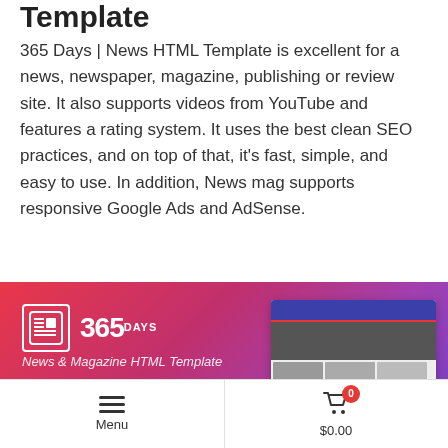Template
365 Days | News HTML Template is excellent for a news, newspaper, magazine, publishing or review site. It also supports videos from YouTube and features a rating system. It uses the best clean SEO practices, and on top of that, it's fast, simple, and easy to use. In addition, News mag supports responsive Google Ads and AdSense.
[Figure (screenshot): 365 Days News & Magazine HTML Template promotional banner showing the logo and multiple website mockup screenshots on a pink-to-purple gradient background.]
Menu    $0.00